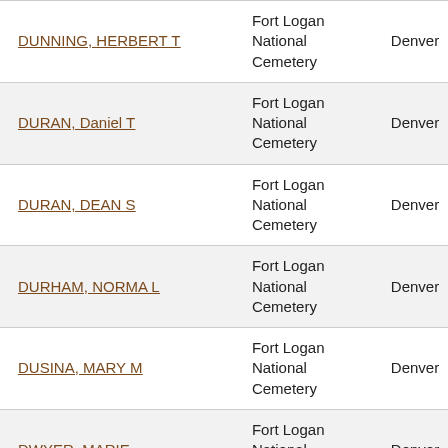| Name | Cemetery | City |
| --- | --- | --- |
| DUNNING, HERBERT T | Fort Logan National Cemetery | Denver |
| DURAN, Daniel T | Fort Logan National Cemetery | Denver |
| DURAN, DEAN S | Fort Logan National Cemetery | Denver |
| DURHAM, NORMA L | Fort Logan National Cemetery | Denver |
| DUSINA, MARY M | Fort Logan National Cemetery | Denver |
| DWYER, MARIE | Fort Logan National Cemetery | Denver |
| DYER, BETTY L | Fort Logan National Cemetery | Denver |
| DYER, Joshua | Fort Logan National Cemetery | Denver |
| EADS, ALLEN L | Fort Logan National Cemetery | Denver |